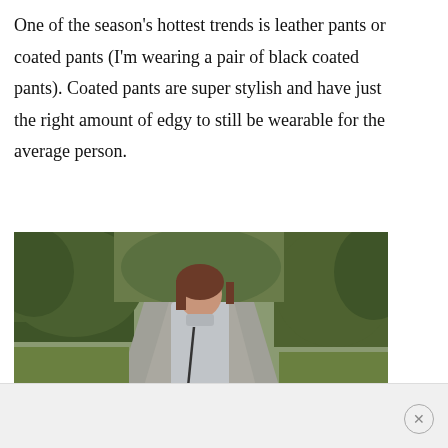One of the season's hottest trends is leather pants or coated pants (I'm wearing a pair of black coated pants). Coated pants are super stylish and have just the right amount of edgy to still be wearable for the average person.
[Figure (photo): A woman with brown hair wearing a grey turtleneck sweater stands on a winding driveway or road surrounded by trees and grass, smiling at the camera. The setting appears to be a park or estate on a cloudy day.]